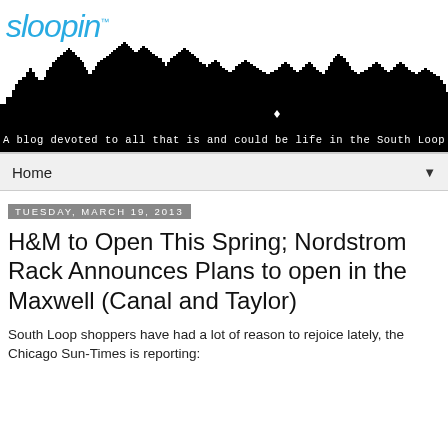[Figure (logo): Sloopin blog logo with italic blue text 'sloopin' and TM mark]
[Figure (illustration): Black silhouette of Chicago city skyline with white text overlay: 'A blog devoted to all that is and could be life in the South Loop']
Home
Tuesday, March 19, 2013
H&M to Open This Spring; Nordstrom Rack Announces Plans to open in the Maxwell (Canal and Taylor)
South Loop shoppers have had a lot of reason to rejoice lately, the Chicago Sun-Times is reporting: